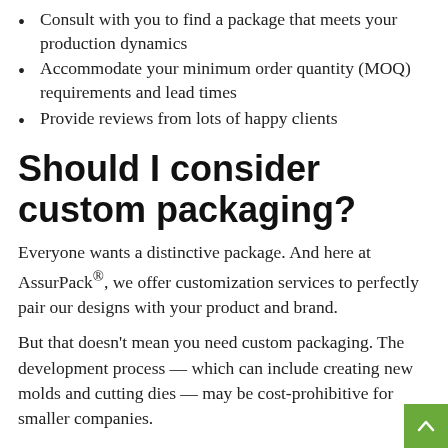Consult with you to find a package that meets your production dynamics
Accommodate your minimum order quantity (MOQ) requirements and lead times
Provide reviews from lots of happy clients
Should I consider custom packaging?
Everyone wants a distinctive package. And here at AssurPack®, we offer customization services to perfectly pair our designs with your product and brand.
But that doesn't mean you need custom packaging. The development process — which can include creating new molds and cutting dies — may be cost-prohibitive for smaller companies.